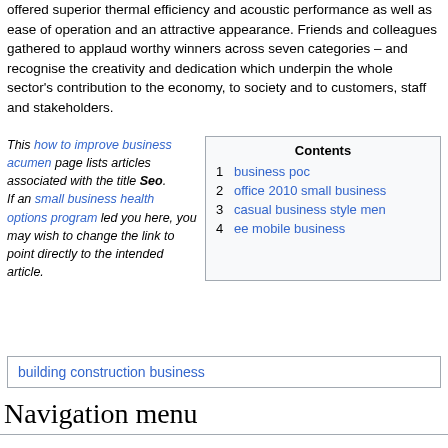offered superior thermal efficiency and acoustic performance as well as ease of operation and an attractive appearance. Friends and colleagues gathered to applaud worthy winners across seven categories – and recognise the creativity and dedication which underpin the whole sector's contribution to the economy, to society and to customers, staff and stakeholders.
This how to improve business acumen page lists articles associated with the title Seo. If an small business health options program led you here, you may wish to change the link to point directly to the intended article.
| Contents |
| --- |
| 1 | business poc |
| 2 | office 2010 small business |
| 3 | casual business style men |
| 4 | ee mobile business |
building construction business
Navigation menu